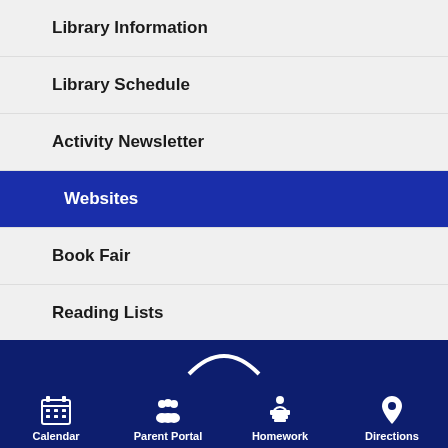Library Information
Library Schedule
Activity Newsletter
Websites
Book Fair
Reading Lists
Makerspace and STEAM Activities
Calendar | Parent Portal | Homework | Directions